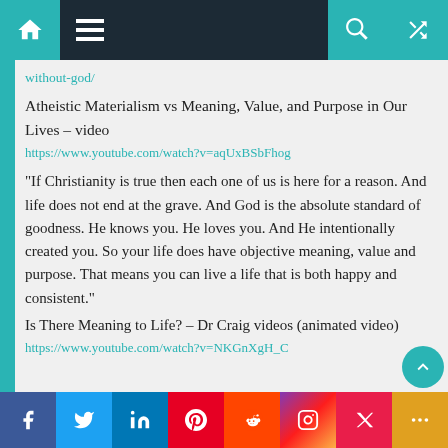Navigation bar with home, menu, search, and random icons
without-god/
Atheistic Materialism vs Meaning, Value, and Purpose in Our Lives – video
https://www.youtube.com/watch?v=aqUxBSbFhog
“If Christianity is true then each one of us is here for a reason. And life does not end at the grave. And God is the absolute standard of goodness. He knows you. He loves you. And He intentionally created you. So your life does have objective meaning, value and purpose. That means you can live a life that is both happy and consistent.”
Is There Meaning to Life? – Dr Craig videos (animated video)
https://www.youtube.com/watch?v=NKGnXgH_C...
Social share bar: Facebook, Twitter, LinkedIn, Pinterest, Reddit, Instagram, Flipboard, More